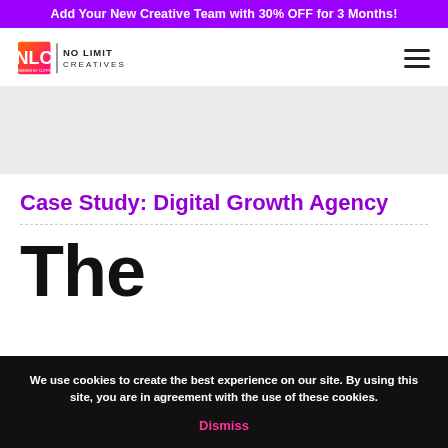Add Your New Creative Team with 30% OFF for 3 Months!
[Figure (logo): NLC No Limit Creatives logo with hamburger menu icon]
[Figure (photo): Hero image area (light gray background)]
Case Study: Digital Growth Agency
The
We use cookies to create the best experience on our site. By using this site, you are in agreement with the use of these cookies. Dismiss